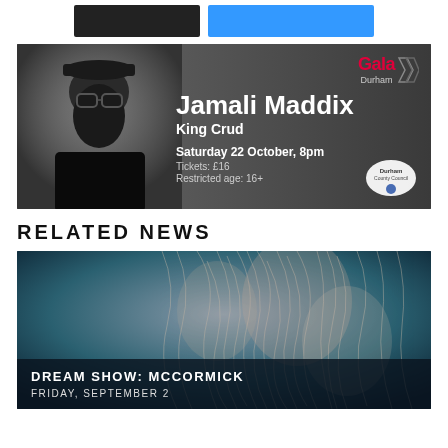[Figure (other): Two UI buttons: a dark/black button and a blue button at top of page]
[Figure (photo): Event promotional banner for Jamali Maddix King Crud show at Gala Durham. Dark background with a bearded man in black wearing glasses and a cap on the left, and event text on the right: 'Jamali Maddix', 'King Crud', 'Saturday 22 October, 8pm', 'Tickets: £16', 'Restricted age: 16+'. Gala Durham logo top right, Durham County Council badge bottom right.]
RELATED NEWS
[Figure (photo): Abstract image of tangled fibrous/hair-like tendrils against a dark teal/blue background, used as a related news article thumbnail for Dream Show: McCormick]
DREAM SHOW: MCCORMICK
FRIDAY, SEPTEMBER 2